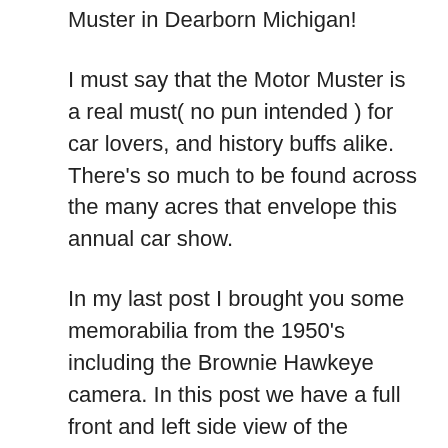Muster in Dearborn Michigan!
I must say that the Motor Muster is a real must( no pun intended ) for car lovers, and history buffs alike. There’s so much to be found across the many acres that envelope this annual car show.
In my last post I brought you some memorabilia from the 1950’s including the Brownie Hawkeye camera. In this post we have a full front and left side view of the beautiful 1960 Buick Le Sabre in blue with assorted things from around that time period laid out neatly on a blanket in front of the car.
Unlike my last post which focused mainly on the camera and magazine with very little of the 1955